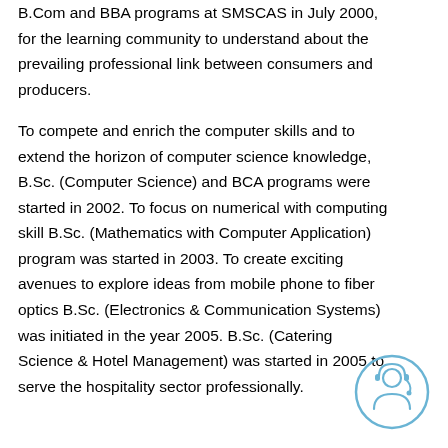B.Com and BBA programs at SMSCAS in July 2000, for the learning community to understand about the prevailing professional link between consumers and producers.
To compete and enrich the computer skills and to extend the horizon of computer science knowledge, B.Sc. (Computer Science) and BCA programs were started in 2002. To focus on numerical with computing skill B.Sc. (Mathematics with Computer Application) program was started in 2003. To create exciting avenues to explore ideas from mobile phone to fiber optics B.Sc. (Electronics & Communication Systems) was initiated in the year 2005. B.Sc. (Catering Science & Hotel Management) was started in 2005 to serve the hospitality sector professionally.
[Figure (illustration): A circular icon showing a customer service / support representative with a headset, rendered in a light blue outline style.]